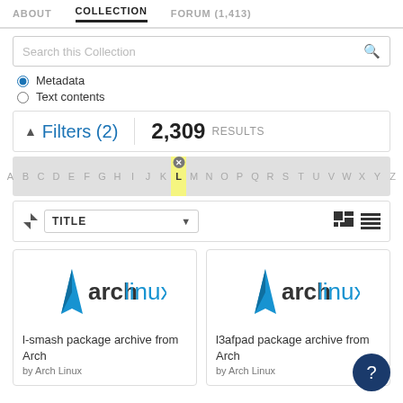ABOUT   COLLECTION   FORUM (1,413)
Search this Collection
Metadata
Text contents
Filters (2)   2,309 RESULTS
A B C D E F G H I J K L M N O P Q R S T U V W X Y Z
TITLE
[Figure (screenshot): Arch Linux logo for l-smash package archive]
l-smash package archive from Arch
by Arch Linux
[Figure (screenshot): Arch Linux logo for l3afpad package archive]
l3afpad package archive from Arch
by Arch Linux